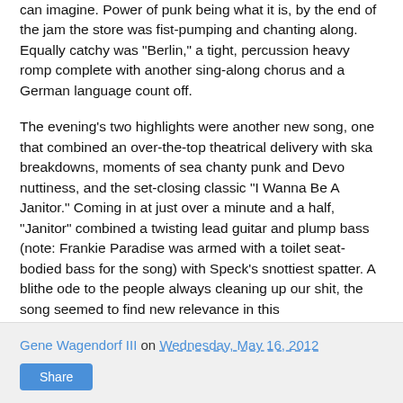can imagine. Power of punk being what it is, by the end of the jam the store was fist-pumping and chanting along. Equally catchy was "Berlin," a tight, percussion heavy romp complete with another sing-along chorus and a German language count off.
The evening's two highlights were another new song, one that combined an over-the-top theatrical delivery with ska breakdowns, moments of sea chanty punk and Devo nuttiness, and the set-closing classic "I Wanna Be A Janitor." Coming in at just over a minute and a half, "Janitor" combined a twisting lead guitar and plump bass (note: Frankie Paradise was armed with a toilet seat-bodied bass for the song) with Speck's snottiest spatter. A blithe ode to the people always cleaning up our shit, the song seemed to find new relevance in this Occupy/economic collapse climate. Heavy stuff, you know? Punk rock. Serious. Blarg.
Gene Wagendorf III on Wednesday, May 16, 2012